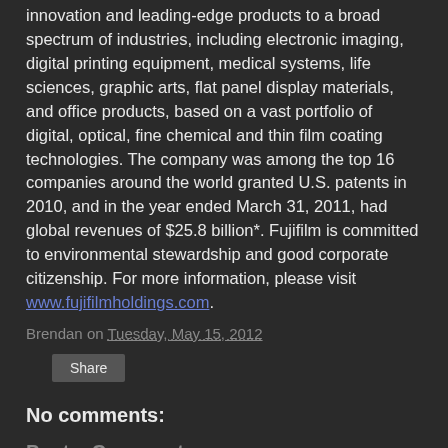innovation and leading-edge products to a broad spectrum of industries, including electronic imaging, digital printing equipment, medical systems, life sciences, graphic arts, flat panel display materials, and office products, based on a vast portfolio of digital, optical, fine chemical and thin film coating technologies. The company was among the top 16 companies around the world granted U.S. patents in 2010, and in the year ended March 31, 2011, had global revenues of $25.8 billion*. Fujifilm is committed to environmental stewardship and good corporate citizenship. For more information, please visit www.fujifilmholdings.com.
Brendan on Tuesday, May 15, 2012
Share
No comments:
Post a Comment
Please only link to relevant stuff, do not attempt to free-advertise, Your links will be removed